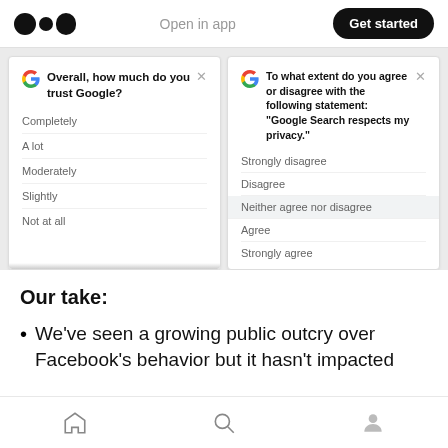Open in app | Get started
[Figure (screenshot): Two Google survey cards side by side. Left card: 'Overall, how much do you trust Google?' with options Completely, A lot, Moderately, Slightly, Not at all. Right card: 'To what extent do you agree or disagree with the following statement: "Google Search respects my privacy."' with options Strongly disagree, Disagree, Neither agree nor disagree (highlighted), Agree, Strongly agree.]
Our take:
We've seen a growing public outcry over Facebook's behavior but it hasn't impacted
Home | Search | Profile